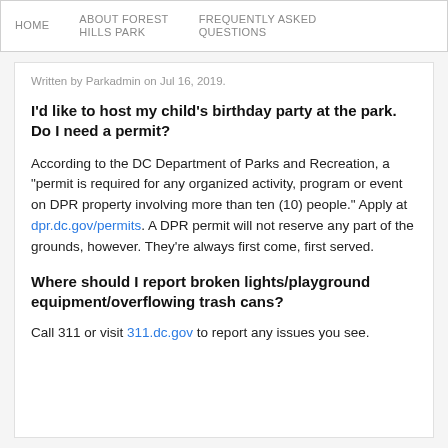HOME   ABOUT FOREST HILLS PARK   FREQUENTLY ASKED QUESTIONS
Written by Parkadmin on Jul 16, 2019.
I'd like to host my child's birthday party at the park. Do I need a permit?
According to the DC Department of Parks and Recreation, a "permit is required for any organized activity, program or event on DPR property involving more than ten (10) people." Apply at dpr.dc.gov/permits. A DPR permit will not reserve any part of the grounds, however. They're always first come, first served.
Where should I report broken lights/playground equipment/overflowing trash cans?
Call 311 or visit 311.dc.gov to report any issues you see.